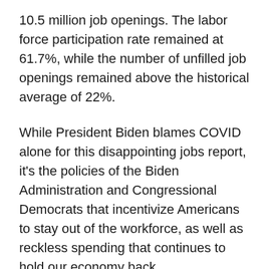10.5 million job openings. The labor force participation rate remained at 61.7%, while the number of unfilled job openings remained above the historical average of 22%.
While President Biden blames COVID alone for this disappointing jobs report, it's the policies of the Biden Administration and Congressional Democrats that incentivize Americans to stay out of the workforce, as well as reckless spending that continues to hold our economy back.
Last week, I participated in the House Natural Resources Committee markup on a portion of Democrats' $3.5 trillion supplemental spending package that the...